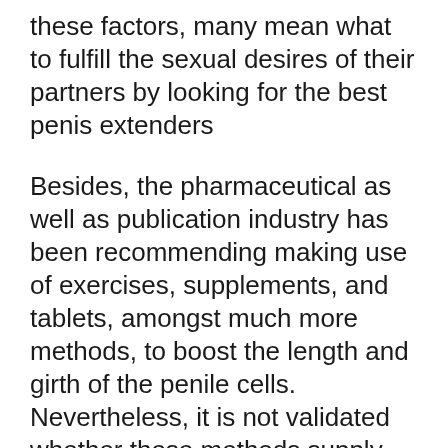these factors, many mean what to fulfill the sexual desires of their partners by looking for the best penis extenders
Besides, the pharmaceutical as well as publication industry has been recommending making use of exercises, supplements, and tablets, amongst much more methods, to boost the length and girth of the penile cells. Nevertheless, it is not validated whether these methods supply superior performance. In the past years’ men increased the size of their penis through penis augmentation surgery and even penile grip treatment. Fortunately, medical professionals have verified that penile extenders can boost your penis flaccid size by using penile extenders. When made use of in 6 months, it can